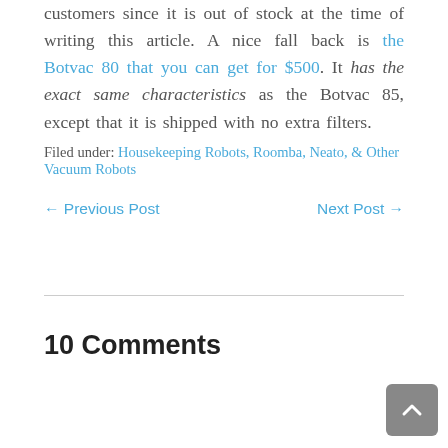customers since it is out of stock at the time of writing this article. A nice fall back is the Botvac 80 that you can get for $500. It has the exact same characteristics as the Botvac 85, except that it is shipped with no extra filters.
Filed under: Housekeeping Robots, Roomba, Neato, & Other Vacuum Robots
← Previous Post    Next Post →
10 Comments